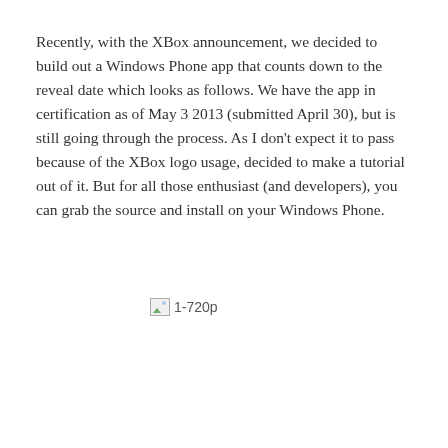Recently, with the XBox announcement, we decided to build out a Windows Phone app that counts down to the reveal date which looks as follows. We have the app in certification as of May 3 2013 (submitted April 30), but is still going through the process. As I don't expect it to pass because of the XBox logo usage, decided to make a tutorial out of it. But for all those enthusiast (and developers), you can grab the source and install on your Windows Phone.
[Figure (other): Broken image placeholder with label '1-720p']